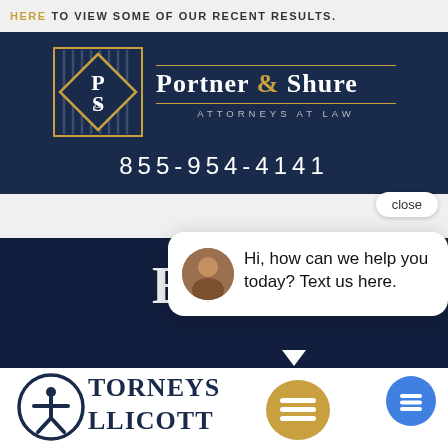HERE TO VIEW SOME OF OUR RECENT RESULTS.
[Figure (logo): Portner & Shure Attorneys at Law logo on dark navy background with phone number 855-954-4141]
close
[Figure (screenshot): Chat popup with avatar and message: Hi, how can we help you today? Text us here.]
[Figure (logo): Portner & Shure attorneys at law partial logo bottom with accessibility icon, hamburger menu, and blue chat button]